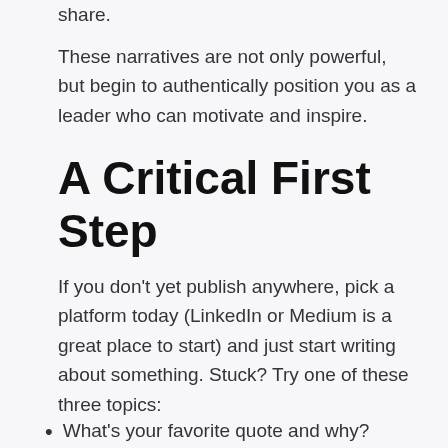share.
These narratives are not only powerful, but begin to authentically position you as a leader who can motivate and inspire.
A Critical First Step
If you don't yet publish anywhere, pick a platform today (LinkedIn or Medium is a great place to start) and just start writing about something. Stuck? Try one of these three topics:
What's your favorite quote and why?